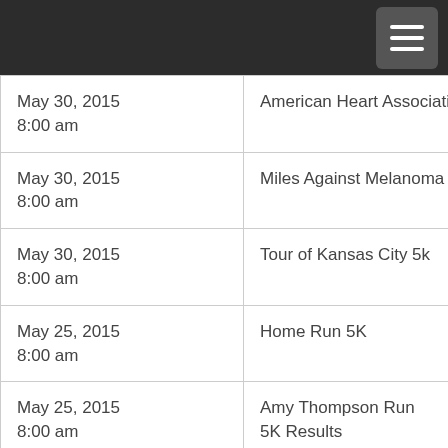| Date | Event |
| --- | --- |
| May 30, 2015
8:00 am | American Heart Association |
| May 30, 2015
8:00 am | Miles Against Melanoma |
| May 30, 2015
8:00 am | Tour of Kansas City 5k |
| May 25, 2015
8:00 am | Home Run 5K |
| May 25, 2015
8:00 am | Amy Thompson Run
5K Results |